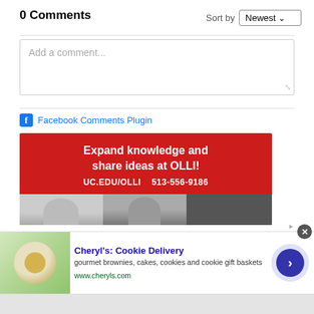0 Comments
Sort by Newest
[Figure (screenshot): Text input box with placeholder text 'Add a comment...']
Facebook Comments Plugin
[Figure (infographic): Red advertisement banner: 'Expand knowledge and share ideas at OLLI! UC.EDU/OLLI 513-556-9186' with photo of people below]
[Figure (infographic): Bottom ad banner for Cheryl's: Cookie Delivery - 'gourmet brownies, cakes, cookies and cookie gift baskets' www.cheryls.com, with cookie image on left and arrow button on right]